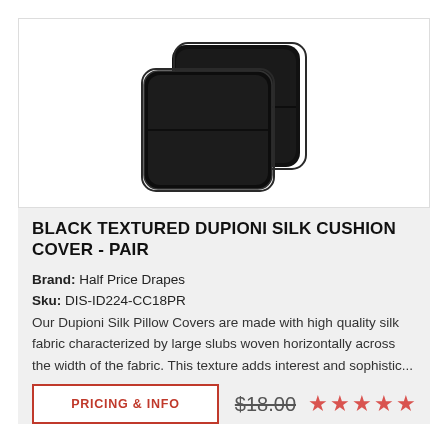[Figure (photo): Two black textured Dupioni silk cushion covers/pillows stacked slightly overlapping on a white background]
BLACK TEXTURED DUPIONI SILK CUSHION COVER - PAIR
Brand: Half Price Drapes
Sku: DIS-ID224-CC18PR
Our Dupioni Silk Pillow Covers are made with high quality silk fabric characterized by large slubs woven horizontally across the width of the fabric. This texture adds interest and sophistic...
PRICING & INFO
$18.00 ★★★★★